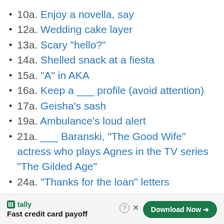10a. Enjoy a novella, say
12a. Wedding cake layer
13a. Scary "hello?"
14a. Shelled snack at a fiesta
15a. "A" in AKA
16a. Keep a ___ profile (avoid attention)
17a. Geisha's sash
19a. Ambulance's loud alert
21a. ___ Baranski, "The Good Wife" actress who plays Agnes in the TV series "The Gilded Age"
24a. "Thanks for the loan" letters
Fast credit card payoff — Download Now (Tally ad)